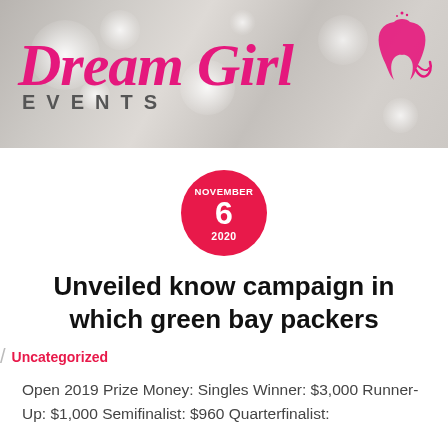[Figure (logo): Dream Girl Events logo on a bokeh grey background. Pink cursive 'Dream Girl' text with a face silhouette icon, and 'EVENTS' in dark grey spaced capitals below.]
NOVEMBER 6 2020
Unveiled know campaign in which green bay packers
Uncategorized
Open 2019 Prize Money: Singles Winner: $3,000 Runner-Up: $1,000 Semifinalist: $960 Quarterfinalist: